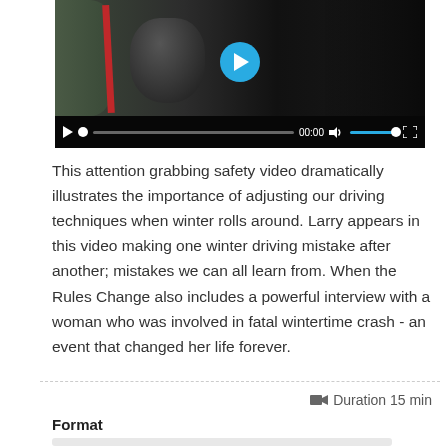[Figure (screenshot): A video player showing a winter safety video. The video frame shows a person in dark armor with red stripes in a snowy scene. The player has a cyan play button overlay, and controls at the bottom showing play button, progress bar, time 00:00, volume icon, volume bar with white dot, and fullscreen button.]
This attention grabbing safety video dramatically illustrates the importance of adjusting our driving techniques when winter rolls around. Larry appears in this video making one winter driving mistake after another; mistakes we can all learn from. When the Rules Change also includes a powerful interview with a woman who was involved in fatal wintertime crash - an event that changed her life forever.
Duration 15 min
Format